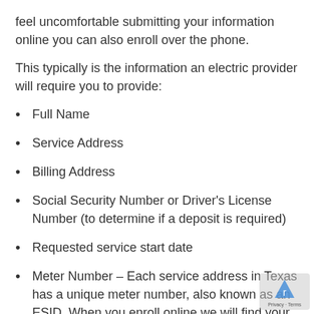feel uncomfortable submitting your information online you can also enroll over the phone.
This typically is the information an electric provider will require you to provide:
Full Name
Service Address
Billing Address
Social Security Number or Driver's License Number (to determine if a deposit is required)
Requested service start date
Meter Number – Each service address in Texas has a unique meter number, also known as an ESID. When you enroll online we will find your ESID number based on